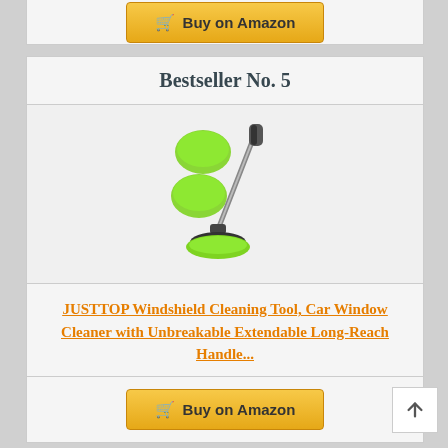Buy on Amazon (top partial button)
Bestseller No. 5
[Figure (photo): JUSTTOP windshield cleaning tool product image showing green microfiber pads and an extendable handle with a mop-style cleaning head on the bottom]
JUSTTOP Windshield Cleaning Tool, Car Window Cleaner with Unbreakable Extendable Long-Reach Handle...
Buy on Amazon